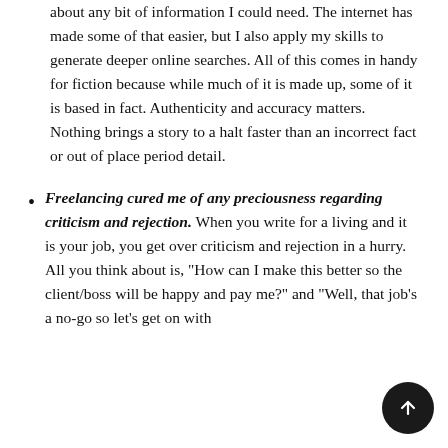about any bit of information I could need. The internet has made some of that easier, but I also apply my skills to generate deeper online searches. All of this comes in handy for fiction because while much of it is made up, some of it is based in fact. Authenticity and accuracy matters. Nothing brings a story to a halt faster than an incorrect fact or out of place period detail.
Freelancing cured me of any preciousness regarding criticism and rejection. When you write for a living and it is your job, you get over criticism and rejection in a hurry. All you think about is, "How can I make this better so the client/boss will be happy and pay me?" and "Well, that job's a no-go so let's get on with